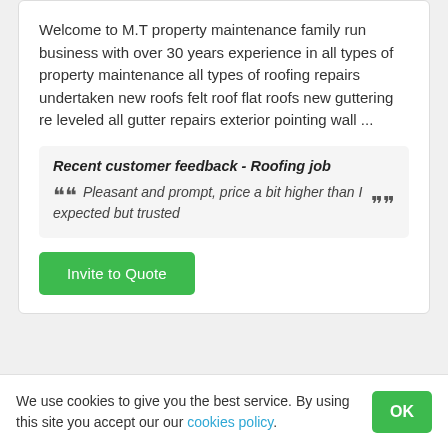Welcome to M.T property maintenance family run business with over 30 years experience in all types of property maintenance all types of roofing repairs undertaken new roofs felt roof flat roofs new guttering re leveled all gutter repairs exterior pointing wall ...
Recent customer feedback - Roofing job
Pleasant and prompt, price a bit higher than I expected but trusted
Invite to Quote
We use cookies to give you the best service. By using this site you accept our our cookies policy.